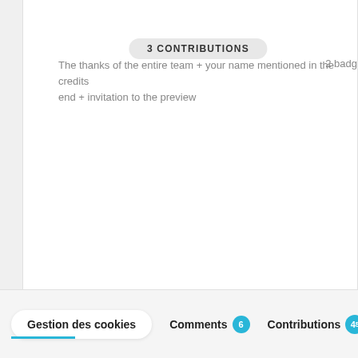3 CONTRIBUTIONS
The thanks of the entire team + your name mentioned in the credits end + invitation to the preview
2 badg…
Gestion des cookies   Comments 6   Contributions 4…